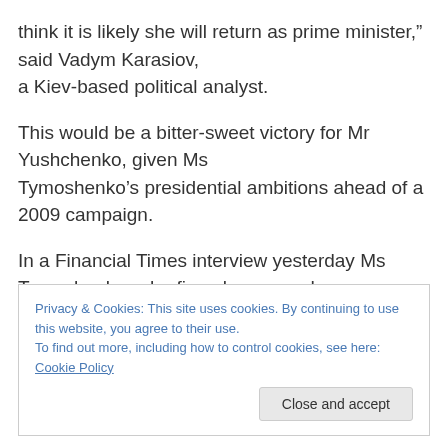think it is likely she will return as prime minister," said Vadym Karasiov, a Kiev-based political analyst.
This would be a bitter-sweet victory for Mr Yushchenko, given Ms Tymoshenko’s presidential ambitions ahead of a 2009 campaign.
In a Financial Times interview yesterday Ms Tymoshenko, who fiercely opposed
Privacy & Cookies: This site uses cookies. By continuing to use this website, you agree to their use.
To find out more, including how to control cookies, see here: Cookie Policy